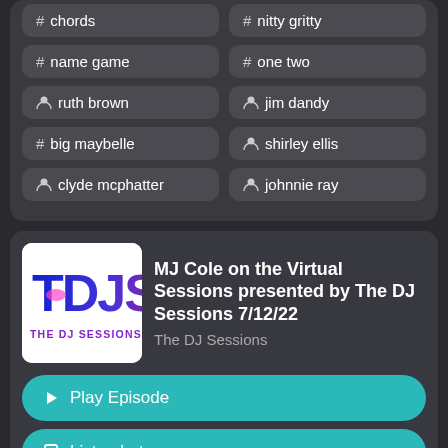# chords
# nitty gritty
# name game
# one two
person ruth brown
person jim dandy
# big maybelle
person shirley ellis
person clyde mcphatter
person johnnie ray
[Figure (logo): The DJ Sessions logo - TDJS letters in blue and purple gradient with pink glow, text THE DJ SESSIONS below in purple on white background]
MJ Cole on the Virtual Sessions presented by The DJ Sessions 7/12/22
The DJ Sessions
Play Episode
Listen Later